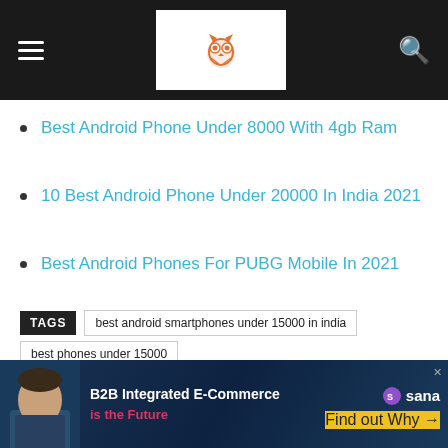Navigation bar with hamburger menu, owl logo, and search icon
Best Android Phone Under 8000 With 4gb Ram
10 Best Android Phone Under 20000 In India 2021
Best Android Phones For PUBG Mobile In 2021
TAGS  best android smartphones under 15000 in india  best phones under 15000
[Figure (other): Social share buttons: green share, Facebook (f), Twitter bird, Pinterest (p)]
[Figure (other): Advertisement banner: B2B Integrated E-Commerce is the Future - Sana Commerce]